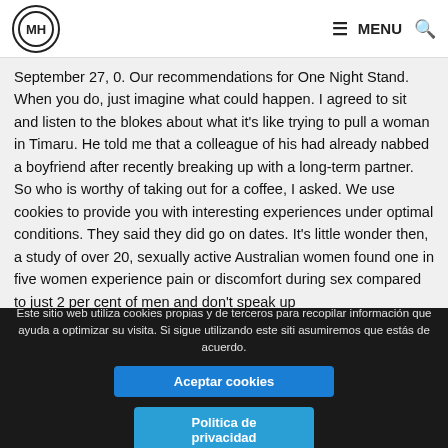M H (logo) | ≡ MENU 🔍
September 27, 0. Our recommendations for One Night Stand. When you do, just imagine what could happen. I agreed to sit and listen to the blokes about what it's like trying to pull a woman in Timaru. He told me that a colleague of his had already nabbed a boyfriend after recently breaking up with a long-term partner. So who is worthy of taking out for a coffee, I asked. We use cookies to provide you with interesting experiences under optimal conditions. They said they did go on dates. It's little wonder then, a study of over 20, sexually active Australian women found one in five women experience pain or discomfort during sex compared to just 2 per cent of men and don't speak up
Este sitio web utiliza cookies propias y de terceros para recopilar información que ayuda a optimizar su visita. Si sigue utilizando este sitio asumiremos que estás de acuerdo.
Aceptar cookies
Politica de privacidad